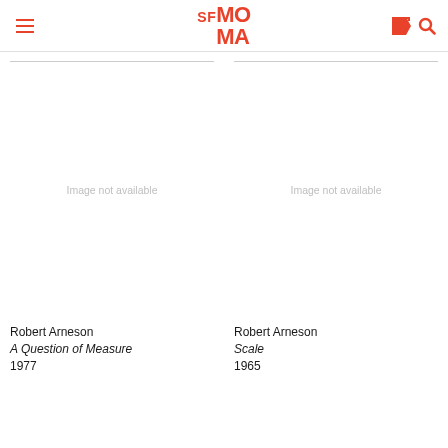SFMOMA
[Figure (photo): Image not available placeholder for Robert Arneson artwork]
Robert Arneson
A Question of Measure
1977
[Figure (photo): Image not available placeholder for Robert Arneson artwork]
Robert Arneson
Scale
1965